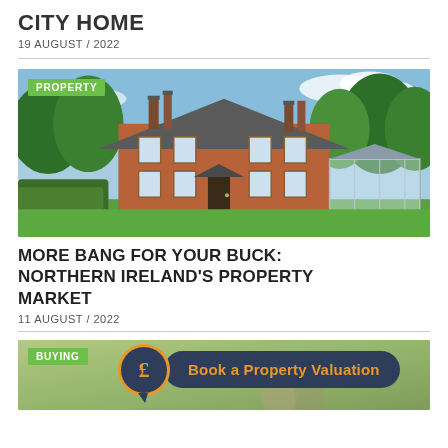CITY HOME
19 AUGUST / 2022
[Figure (photo): Large Victorian red-brick house with conservatory and green lawns, blue sky with trees]
MORE BANG FOR YOUR BUCK: NORTHERN IRELAND'S PROPERTY MARKET
11 AUGUST / 2022
[Figure (photo): Bottom partial image with BUYING tag and Book a Property Valuation call-to-action banner with pound sign icon]